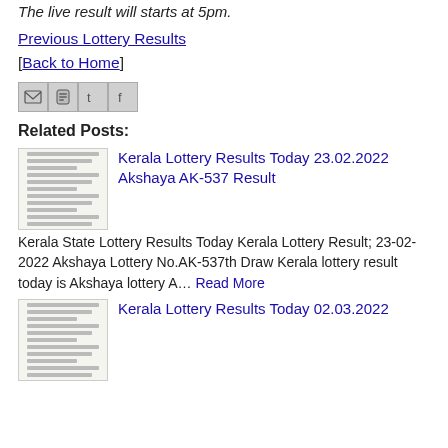The live result will starts at 5pm.
Previous Lottery Results
[Back to Home]
[Figure (other): Social share icons: Email (M), Blogger (B), Twitter (T), Facebook (F)]
Related Posts:
[Figure (screenshot): Thumbnail image of lottery result document]
Kerala Lottery Results Today 23.02.2022 Akshaya AK-537 Result
Kerala State Lottery Results Today Kerala Lottery Result; 23-02-2022 Akshaya Lottery No.AK-537th Draw Kerala lottery result today is Akshaya lottery A… Read More
[Figure (screenshot): Thumbnail image of lottery result document]
Kerala Lottery Results Today 02.03.2022